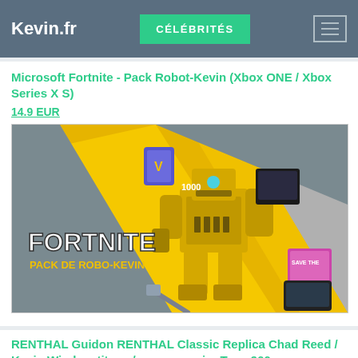Kevin.fr | CÉLÉBRITÉS
Microsoft Fortnite - Pack Robot-Kevin (Xbox ONE / Xbox Series X S)
14.9 EUR
[Figure (screenshot): Fortnite Pack de Robo-Kevin promotional image showing a large yellow mech robot character with Fortnite logo and 'Pack de Robo-Kevin' text, with V-bucks book showing 1000, on a yellow and grey diagonal striped background.]
RENTHAL Guidon RENTHAL Classic Replica Chad Reed / Kevin Windam titane / mousse noire Type 966